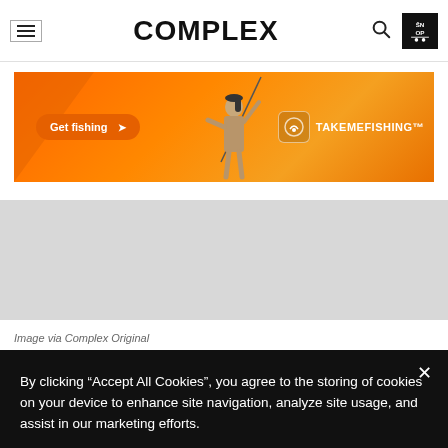COMPLEX
[Figure (photo): TakeMeFishing advertisement banner with orange background showing a woman fishing and text 'Get fishing >' button]
[Figure (photo): Gray placeholder content area]
Image via Complex Original
By clicking "Accept All Cookies", you agree to the storing of cookies on your device to enhance site navigation, analyze site usage, and assist in our marketing efforts.
ACCEPT ALL COOKIES